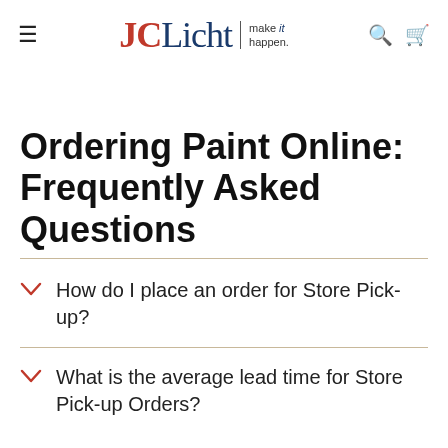JCLicht | make it happen.
Ordering Paint Online: Frequently Asked Questions
How do I place an order for Store Pick-up?
What is the average lead time for Store Pick-up Orders?